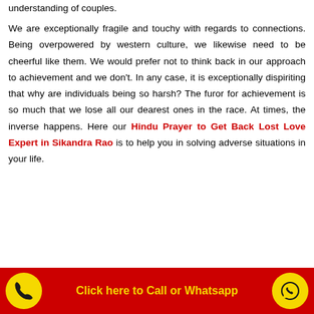understanding of couples.

We are exceptionally fragile and touchy with regards to connections. Being overpowered by western culture, we likewise need to be cheerful like them. We would prefer not to think back in our approach to achievement and we don't. In any case, it is exceptionally dispiriting that why are individuals being so harsh? The furor for achievement is so much that we lose all our dearest ones in the race. At times, the inverse happens. Here our Hindu Prayer to Get Back Lost Love Expert in Sikandra Rao is to help you in solving adverse situations in your life.
Click here to Call or Whatsapp